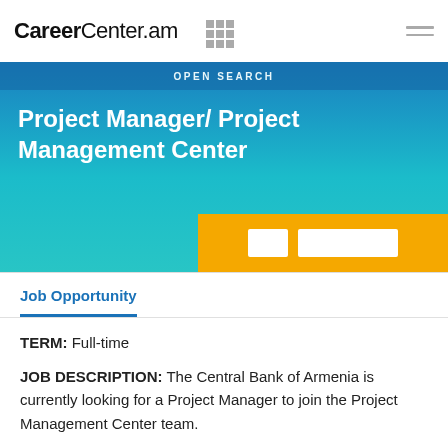CareerCenter.am
OPEN SEARCH
Project Manager/ Project Management Center
Job Opportunity
TERM: Full-time
JOB DESCRIPTION: The Central Bank of Armenia is currently looking for a Project Manager to join the Project Management Center team.
RESPONSIBILITIES:
Monitor, oversee and track project progress